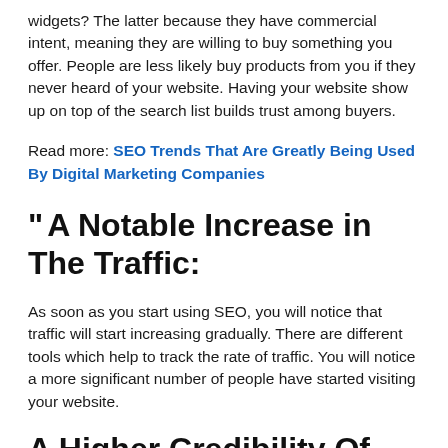widgets? The latter because they have commercial intent, meaning they are willing to buy something you offer. People are less likely buy products from you if they never heard of your website. Having your website show up on top of the search list builds trust among buyers.
Read more: SEO Trends That Are Greatly Being Used By Digital Marketing Companies
A Notable Increase in The Traffic:
As soon as you start using SEO, you will notice that traffic will start increasing gradually. There are different tools which help to track the rate of traffic. You will notice a more significant number of people have started visiting your website.
A Higher Credibility Of The...